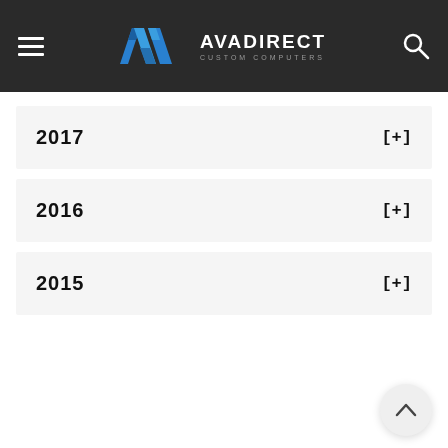AVADirect Custom Computers
2017 [+]
2016 [+]
2015 [+]